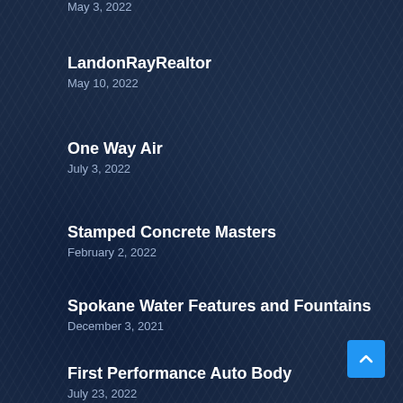May 3, 2022
LandonRayRealtor
May 10, 2022
One Way Air
July 3, 2022
Stamped Concrete Masters
February 2, 2022
Spokane Water Features and Fountains
December 3, 2021
First Performance Auto Body
July 23, 2022